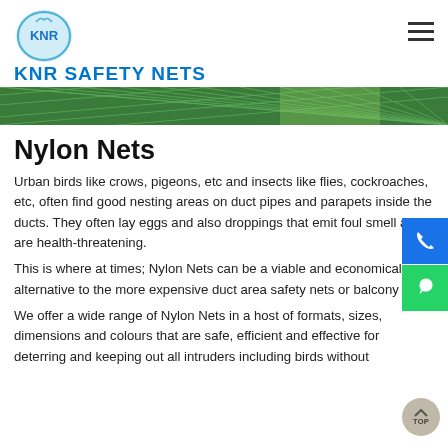[Figure (logo): KNR Safety Nets logo with circular emblem and brand name in blue]
[Figure (photo): Green safety nylon net close-up banner image]
Nylon Nets
Urban birds like crows, pigeons, etc and insects like flies, cockroaches, etc, often find good nesting areas on duct pipes and parapets inside the ducts. They often lay eggs and also droppings that emit foul smell and are health-threatening.
This is where at times; Nylon Nets can be a viable and economical alternative to the more expensive duct area safety nets or balcony nets.
We offer a wide range of Nylon Nets in a host of formats, sizes, dimensions and colours that are safe, efficient and effective for deterring and keeping out all intruders including birds without